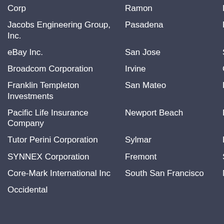| Company | City | Industry | Description |
| --- | --- | --- | --- |
| Corp | Ramon | Energy and Utilities (truncated) | Refi... |
| Jacobs Engineering Group, Inc. | Pasadena | Real Estate and Construction | Cons... Rem... |
| eBay Inc. | San Jose | Software and Internet | E-co... Inter... |
| Broadcom Corporation | Irvine | Computers and Electronics | Semi... Micro... |
| Franklin Templeton Investments | San Mateo | Financial Services | Inves... Ventu... |
| Pacific Life Insurance Company | Newport Beach | Financial Services | Insur... Mana... |
| Tutor Perini Corporation | Sylmar | Real Estate and Construction | Cons... Reme... |
| SYNNEX Corporation | Fremont | Software and Internet | Data Mana... Stora... |
| Core-Mark International Inc | South San Francisco | Manufacturing | Food Manu... Pack... |
| Occidental |  |  |  |